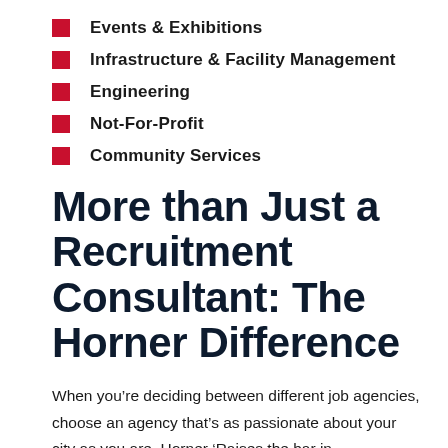Events & Exhibitions
Infrastructure & Facility Management
Engineering
Not-For-Profit
Community Services
More than Just a Recruitment Consultant: The Horner Difference
When you’re deciding between different job agencies, choose an agency that’s as passionate about your city as you are. Horner ‘Raises the bar in Recruitment’ and HR, providing tailored